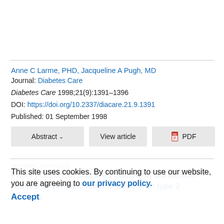Anne C Larme, PHD, Jacqueline A Pugh, MD
Journal: Diabetes Care
Diabetes Care 1998;21(9):1391–1396
DOI: https://doi.org/10.2337/diacare.21.9.1391
Published: 01 September 1998
Abstract  View article  PDF
JOURNAL ARTICLES
Patient Choice in Diabetes Education Curriculum: Nutritional versus standard content for type 2 diabetes
This site uses cookies. By continuing to use our website, you are agreeing to our privacy policy. Accept